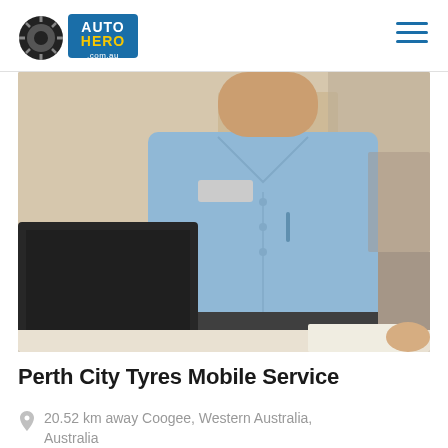AutoHero.com.au — navigation header with logo and hamburger menu
[Figure (photo): Auto service technician in light blue button-up shirt with name badge standing behind a service desk with a computer monitor in the foreground]
Perth City Tyres Mobile Service
20.52 km away Coogee, Western Australia, Australia